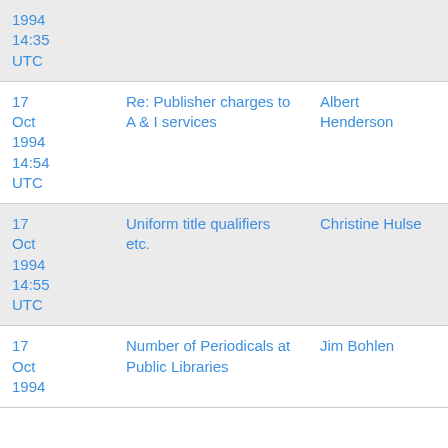| Date | Subject | Author |
| --- | --- | --- |
| 17 Oct 1994
14:35
UTC |  |  |
| 17 Oct 1994
14:54
UTC | Re: Publisher charges to A & I services | Albert Henderson |
| 17 Oct 1994
14:55
UTC | Uniform title qualifiers etc. | Christine Hulse |
| 17 Oct 1994 | Number of Periodicals at Public Libraries | Jim Bohlen |